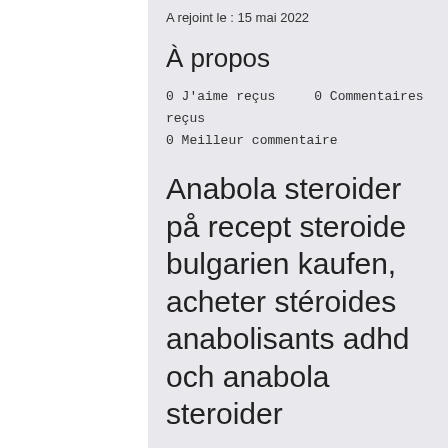A rejoint le : 15 mai 2022
À propos
0 J'aime reçus    0 Commentaires reçus
0 Meilleur commentaire
Anabola steroider på recept steroide bulgarien kaufen, acheter stéroides anabolisants adhd och anabola steroider
Anabola steroider på recept steroide bulgarien kaufen, acheter stéroides anabolisants adhd och anabola steroider - Köp anabola steroider online